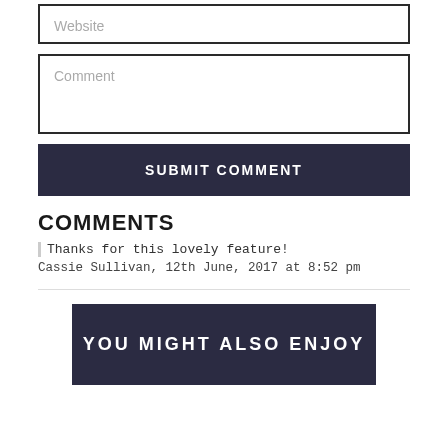[Figure (screenshot): Website text input field with placeholder text 'Website']
[Figure (screenshot): Comment textarea with placeholder text 'Comment']
[Figure (screenshot): Dark navy submit button with text 'SUBMIT COMMENT']
COMMENTS
Thanks for this lovely feature!
Cassie Sullivan, 12th June, 2017 at 8:52 pm
YOU MIGHT ALSO ENJOY